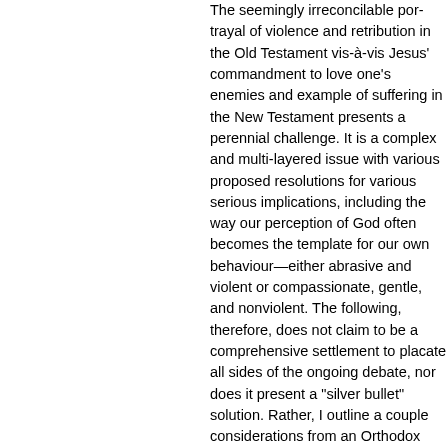The seemingly irreconcilable portrayal of violence and retribution in the Old Testament vis-à-vis Jesus' commandment to love one's enemies and example of suffering in the New Testament presents a perennial challenge. It is a complex and multi-layered issue with various proposed resolutions for it, all with serious implications, including the way our perception of God often becomes the template for our own behaviour—either abrasive and violent or compassionate, gentle, and nonviolent. The following, therefore, does not claim to be a comprehensive settlement to placate all sides of the ongoing debate, nor does it present a "silver bullet" solution. Rather, I outline a couple considerations from an Orthodox perspective that I hope will be helpful to the many who struggle to reconcile the ostensibly divergent portrayals of